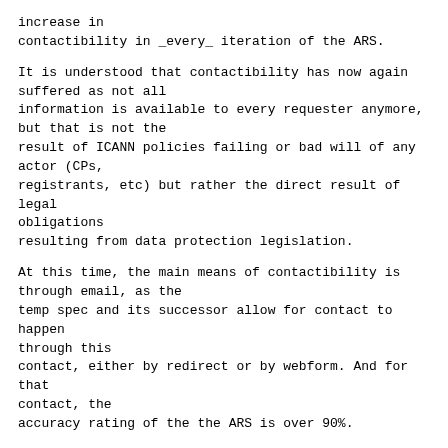increase in
contactibility in _every_ iteration of the ARS.
It is understood that contactibility has now again suffered as not all
information is available to every requester anymore, but that is not the
result of ICANN policies failing or bad will of any actor (CPs,
registrants, etc) but rather the direct result of legal obligations
resulting from data protection legislation.
At this time, the main means of contactibility is through email, as the
temp spec and its successor allow for contact to happen through this
contact, either by redirect or by webform. And for that contact, the
accuracy rating of the the ARS is over 90%.
Best,
Volker
Am 31.05.2019 um 23:42 schrieb Margie Milam:
>
> Hi Matt -
>
> Thanks for sharing those findings.  Those findings